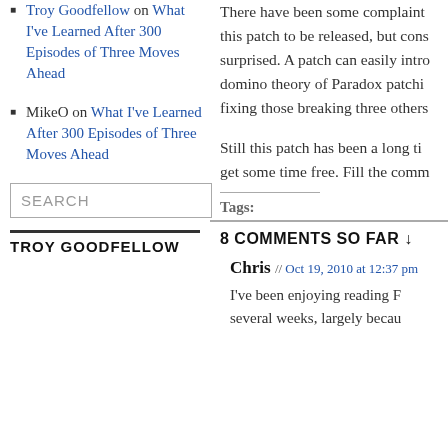Troy Goodfellow on What I've Learned After 300 Episodes of Three Moves Ahead
MikeO on What I've Learned After 300 Episodes of Three Moves Ahead
There have been some complaints about this patch to be released, but cons surprised. A patch can easily intro domino theory of Paradox patchi fixing those breaking three others
Still this patch has been a long ti get some time free. Fill the comm
Tags:
8 COMMENTS SO FAR ↓
Chris // Oct 19, 2010 at 12:37 pm
I've been enjoying reading F several weeks, largely becau